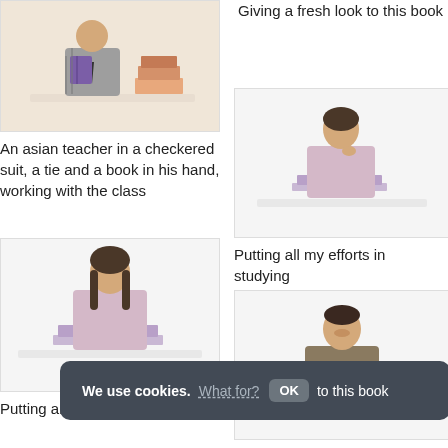[Figure (photo): Asian teacher in a checkered suit holding a book, with stacked books on a desk, peach background]
An asian teacher in a checkered suit, a tie and a book in his hand, working with the class
Giving a fresh look to this book
[Figure (photo): Woman in pink cardigan sitting at a desk reading books, white background]
[Figure (photo): Woman in pink cardigan sitting at a desk reading books, white background]
Putting all my efforts in studying
Putting all my efforts in studying
[Figure (photo): Young man in brown jacket reading a book at a desk, white background]
We use cookies. What for? OK to this book